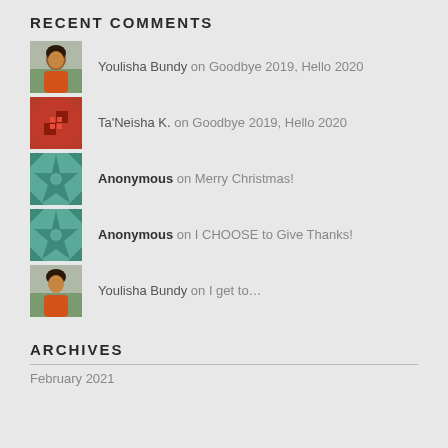RECENT COMMENTS
Youlisha Bundy on Goodbye 2019, Hello 2020
Ta'Neisha K. on Goodbye 2019, Hello 2020
Anonymous on Merry Christmas!
Anonymous on I CHOOSE to Give Thanks!
Youlisha Bundy on I get to…
ARCHIVES
February 2021